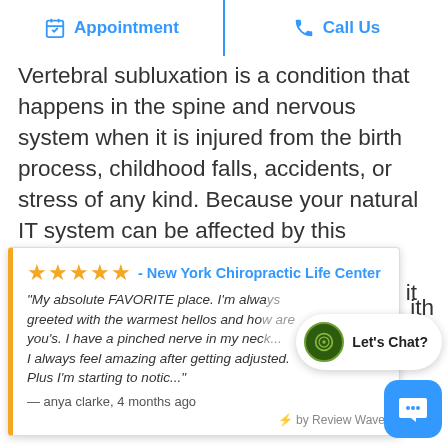Appointment | Call Us
Vertebral subluxation is a condition that happens in the spine and nervous system when it is injured from the birth process, childhood falls, accidents, or stress of any kind. Because your natural IT system can be affected by this condition, it can result in immediate symptoms and mimic any diagnosis or it can lie dormant and asymptomatic fo...
★★★★★ - New York Chiropractic Life Center
"My absolute FAVORITE place. I'm always greeted with the warmest hellos and how are you's. I have a pinched nerve in my neck... I always feel amazing after getting adjusted. Plus I'm starting to notic..."
— anya clarke, 4 months ago
⚡ by Review Wave